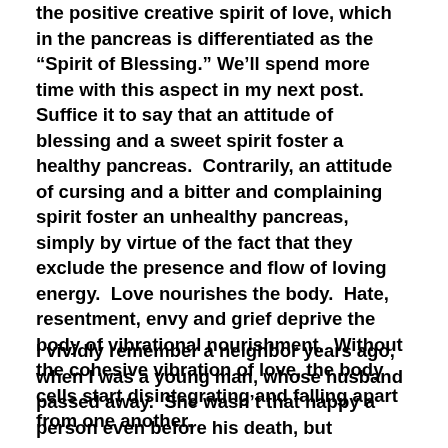the positive creative spirit of love, which in the pancreas is differentiated as the “Spirit of Blessing.” We’ll spend more time with this aspect in my next post.  Suffice it to say that an attitude of blessing and a sweet spirit foster a healthy pancreas.  Contrarily, an attitude of cursing and a bitter and complaining spirit foster an unhealthy pancreas, simply by virtue of the fact that they exclude the presence and flow of loving energy.  Love nourishes the body.  Hate, resentment, envy and grief deprive the body of vibrational nourishment.  Without the cohesive vibration of love, the body cells start disintegrating and falling apart from one another.
I vividly remember a neighbor years ago, when I was a young man, whose husband passed away.  She wasn’t that happy a person even before his death, but